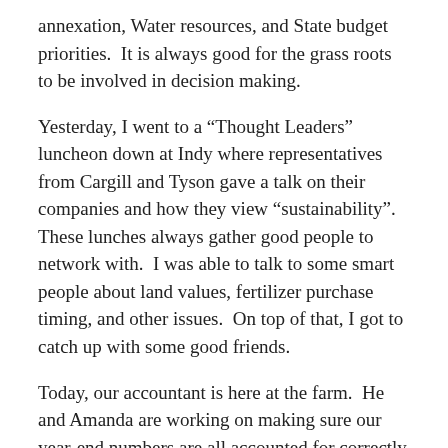annexation, Water resources, and State budget priorities.  It is always good for the grass roots to be involved in decision making.
Yesterday, I went to a “Thought Leaders” luncheon down at Indy where representatives from Cargill and Tyson gave a talk on their companies and how they view “sustainability”.  These lunches always gather good people to network with.  I was able to talk to some smart people about land values, fertilizer purchase timing, and other issues.  On top of that, I got to catch up with some good friends.
Today, our accountant is here at the farm.  He and Amanda are working on making sure our year-end numbers are all accounted for correctly and we can put 2014 to bed.
We have also shipped corn to Staley in lafayette this week, corn to Ingredion in Indy, and seed soybeans